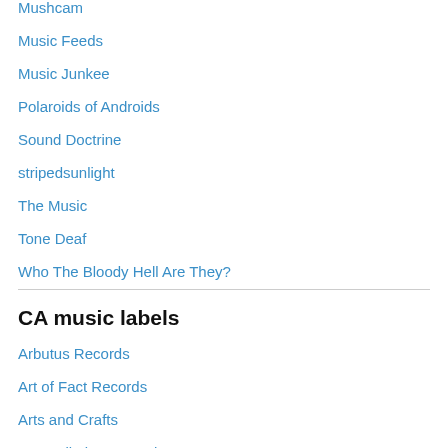Mushcam
Music Feeds
Music Junkee
Polaroids of Androids
Sound Doctrine
stripedsunlight
The Music
Tone Deaf
Who The Bloody Hell Are They?
CA music labels
Arbutus Records
Art of Fact Records
Arts and Crafts
Constellation Records
Dine Alone Records
Flemish Eye
Fundog
Indica